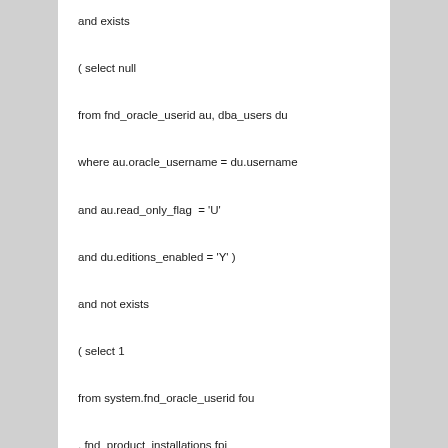and exists

( select null

from fnd_oracle_userid au, dba_users du

where au.oracle_username = du.username

and au.read_only_flag  = 'U'

and du.editions_enabled = 'Y' )

and not exists

( select 1

from system.fnd_oracle_userid fou

, fnd_product_installations fpi

, ad_obsolete_objects aoo